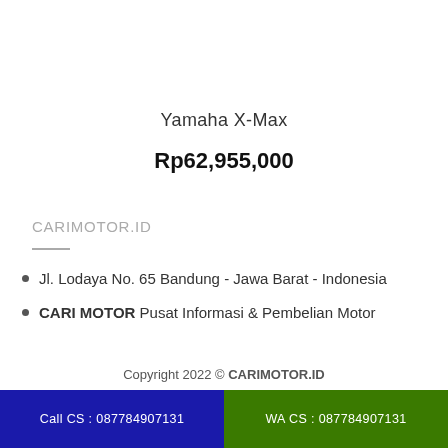Yamaha X-Max
Rp62,955,000
CARIMOTOR.ID
Jl. Lodaya No. 65 Bandung - Jawa Barat - Indonesia
CARI MOTOR Pusat Informasi & Pembelian Motor
Copyright 2022 © CARIMOTOR.ID
Call CS : 087784907131   WA CS : 087784907131